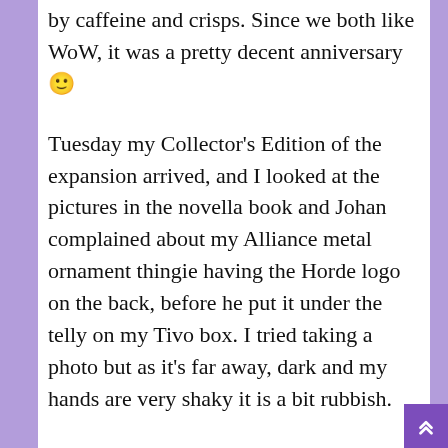by caffeine and crisps. Since we both like WoW, it was a pretty decent anniversary 🙂
Tuesday my Collector's Edition of the expansion arrived, and I looked at the pictures in the novella book and Johan complained about my Alliance metal ornament thingie having the Horde logo on the back, before he put it under the telly on my Tivo box. I tried taking a photo but as it's far away, dark and my hands are very shaky it is a bit rubbish.
Most of the week consisted of playing WoW, recovering from playing WoW, and sleeping. On Thursday I had an appointment with the CFS team person, where I was told that important people are saying they have to stop home visits. They're trying to keep them but if they don't succeed that was my